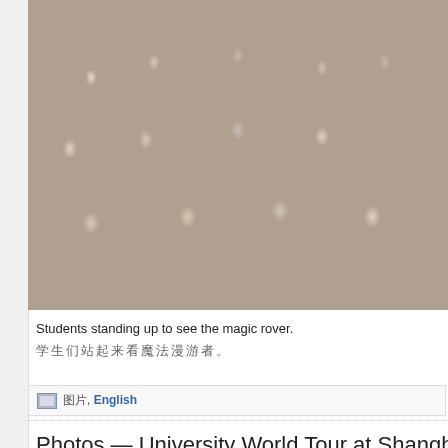[Figure (photo): A large lecture hall packed with students, many standing in the back rows to see something. Students at desks in the foreground have papers, water bottles, and notebooks. The photo appears to be taken at a university in China.]
Students standing up to see the magic rover.
学生们站起来看魔法漫游者。
图片, English
Photos — University World Tour at Shanghai